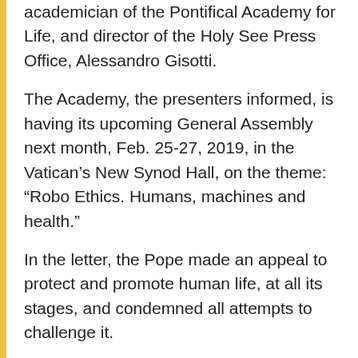academician of the Pontifical Academy for Life, and director of the Holy See Press Office, Alessandro Gisotti.
The Academy, the presenters informed, is having its upcoming General Assembly next month, Feb. 25-27, 2019, in the Vatican's New Synod Hall, on the theme: “Robo Ethics. Humans, machines and health.”
In the letter, the Pope made an appeal to protect and promote human life, at all its stages, and condemned all attempts to challenge it.
It also reflected on its history, with its being founded by Pope Saint John Paul II, at the prompting of Dr. LeJeune, its history with its four presidents preceding Archbishop Paglia, as well as